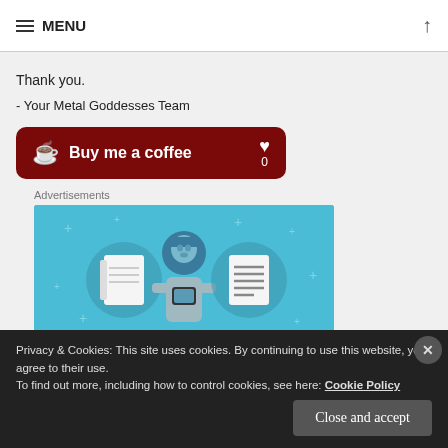≡ MENU ↑
Thank you.
- Your Metal Goddesses Team
[Figure (other): Buy me a coffee button — dark red rounded button with coffee cup icon, text 'Buy me a coffee', heart icon and count '0']
Advertisements
[Figure (illustration): Advertisement illustration on blue background showing a cartoon person holding a phone, flanked by two circular icons representing notebook/document apps]
Privacy & Cookies: This site uses cookies. By continuing to use this website, you agree to their use.
To find out more, including how to control cookies, see here: Cookie Policy
Close and accept